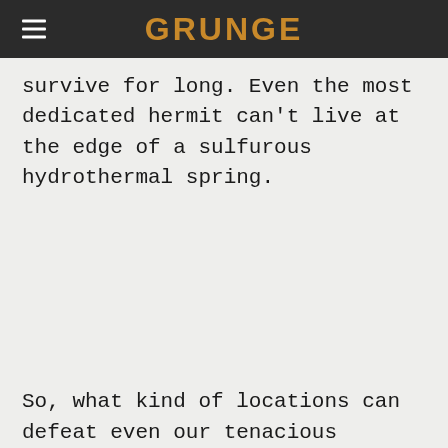GRUNGE
survive for long. Even the most dedicated hermit can't live at the edge of a sulfurous hydrothermal spring.
So, what kind of locations can defeat even our tenacious